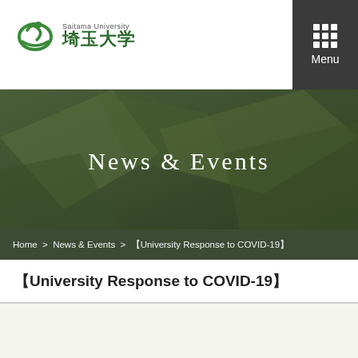[Figure (logo): Saitama University logo with green spiral emblem and Japanese text 埼玉大学]
[Figure (illustration): Menu button with 3x3 grid of dots on dark background]
[Figure (illustration): News & Events hero banner with dark green geometric background and white serif text]
Home  >  News & Events  >  【University Response to COVID-19】
【University Response to COVID-19】
【COVID-19 Reporting Form】
【Student】COVID-19 Reporting Form (office.com)